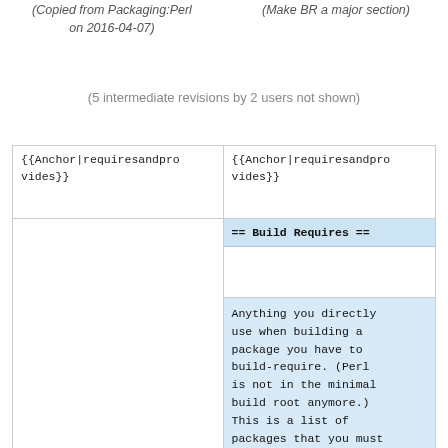(Copied from Packaging:Perl on 2016-04-07)
(Make BR a major section)
(5 intermediate revisions by 2 users not shown)
| {{Anchor|requiresandprovides}} | {{Anchor|requiresandprovides}} |
|  |  |
|  | == Build Requires == |
|  |  |
|  | Anything you directly use when building a package you have to build-require. (Perl is not in the minimal build root anymore.) This is a list of packages that you must |